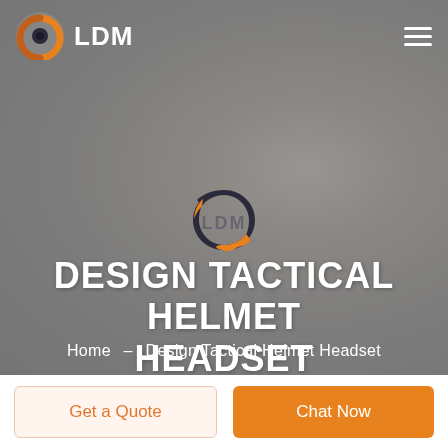[Figure (screenshot): LDM company logo in navigation bar — orange circular swirl icon with white LDM text]
DESIGN TACTICAL HELMET HEADSET
Home  -  Design Tactical Helmet Headset
Get a Quote
Chat Now